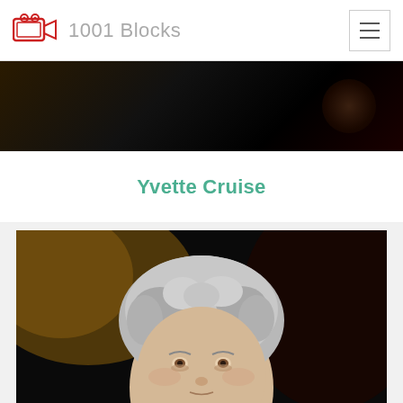1001 Blocks
Yvette Cruise
[Figure (photo): Close-up portrait photograph of an elderly woman with short curly grey/white hair, pale skin, and brown eyes, photographed against a dark background with some warm brown tones in the upper left.]